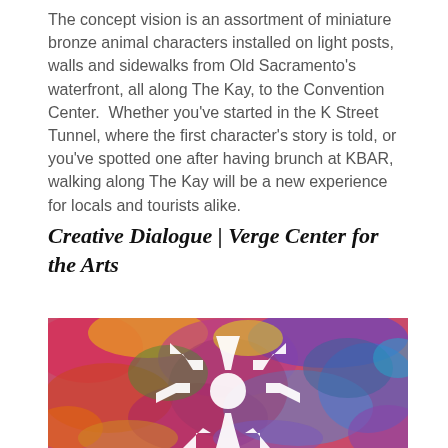The concept vision is an assortment of miniature bronze animal characters installed on light posts, walls and sidewalks from Old Sacramento's waterfront, all along The Kay, to the Convention Center.  Whether you've started in the K Street Tunnel, where the first character's story is told, or you've spotted one after having brunch at KBAR, walking along The Kay will be a new experience for locals and tourists alike.
Creative Dialogue | Verge Center for the Arts
[Figure (photo): A colorful abstract painting with a white asterisk/starburst arrow symbol in the center, on a multicolored spattered background of reds, yellows, greens, blues and purples.]